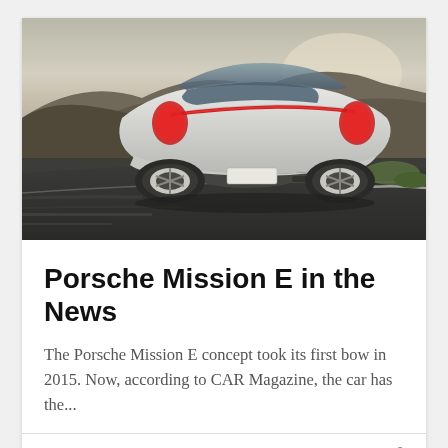[Figure (photo): Rear view of a white Porsche Mission E concept car driving on a winding road with rocky hills in the background]
Porsche Mission E in the News
The Porsche Mission E concept took its first bow in 2015. Now, according to CAR Magazine, the car has the...
September 22, 2017   0